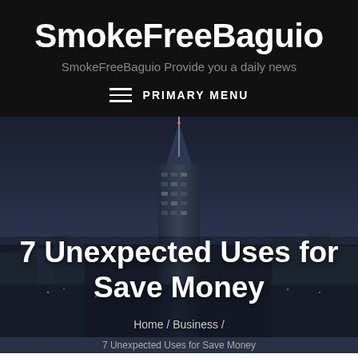SmokeFreeBaguio
SmokeFreeBaguio Provide you a daily news
PRIMARY MENU
[Figure (photo): Night cityscape with tall skyscraper, dark blue-grey sky with city lights in the background]
7 Unexpected Uses for Save Money
Home / Business /
7 Unexpected Uses for Save Money